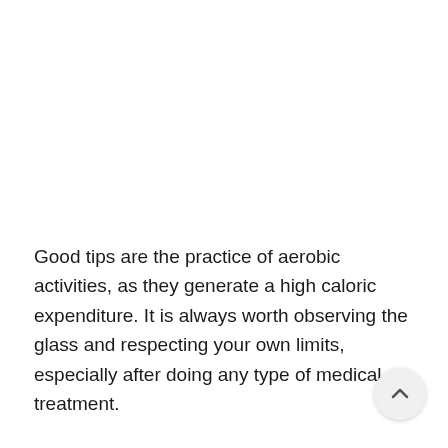Good tips are the practice of aerobic activities, as they generate a high caloric expenditure. It is always worth observing the glass and respecting your own limits, especially after doing any type of medical treatment.
The choice of light, natural and the least industrialized and / or processed foods possible is important, as they help in good nutrition (giving essential nutrients to the functioning